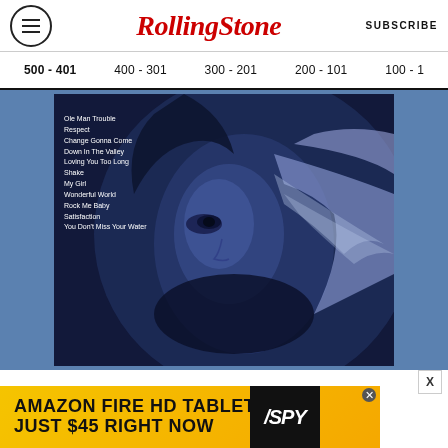Rolling Stone | SUBSCRIBE
500 - 401  400 - 301  300 - 201  200 - 101  100 - 1
[Figure (photo): Album cover showing a close-up blue-toned portrait of a person with flowing hair, with a tracklist on the left side reading: Ole Man Trouble, Respect, Change Gonna Come, Down In The Valley, Loving You Too Long, Shake, My Girl, Wonderful World, Rock Me Baby, Satisfaction, You Don't Miss Your Water]
[Figure (infographic): Advertisement for Amazon Fire HD Tablets with yellow background reading AMAZON FIRE HD TABLETS JUST $45 RIGHT NOW with SPY logo]